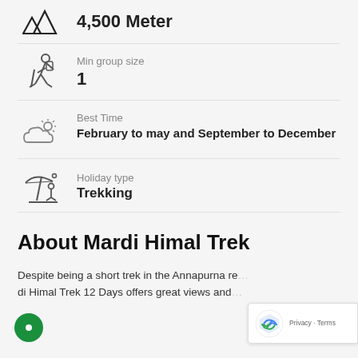4,500 Meter
Min group size
1
Best Time
February to may and September to December
Holiday type
Trekking
About Mardi Himal Trek
Despite being a short trek in the Annapurna re... di Himal Trek 12 Days offers great views and